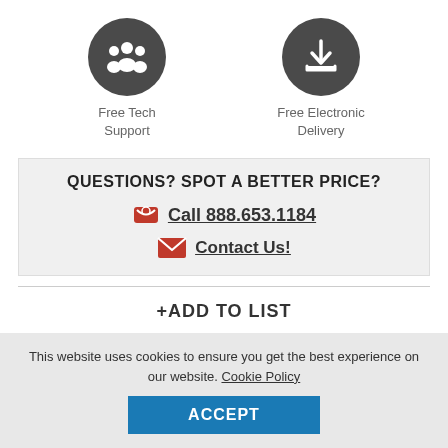[Figure (illustration): Dark grey circle icon with white silhouette of three people (group/team icon)]
Free Tech Support
[Figure (illustration): Dark grey circle icon with white download arrow in a tray icon]
Free Electronic Delivery
QUESTIONS? SPOT A BETTER PRICE?
Call 888.653.1184
Contact Us!
+ADD TO LIST
This website uses cookies to ensure you get the best experience on our website. Cookie Policy
ACCEPT